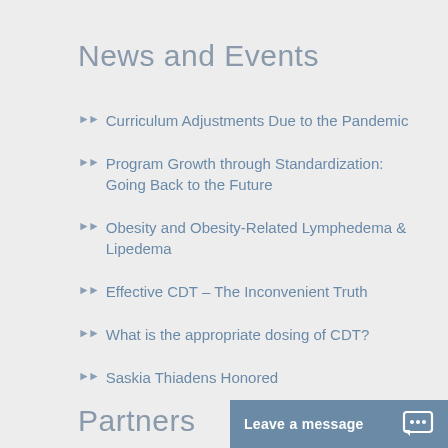News and Events
Curriculum Adjustments Due to the Pandemic
Program Growth through Standardization: Going Back to the Future
Obesity and Obesity-Related Lymphedema & Lipedema
Effective CDT – The Inconvenient Truth
What is the appropriate dosing of CDT?
Saskia Thiadens Honored
Partners
Leave a message